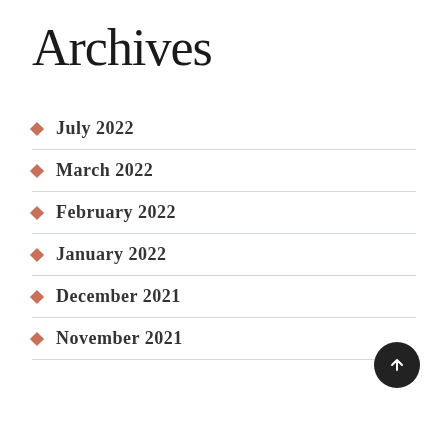Archives
July 2022
March 2022
February 2022
January 2022
December 2021
November 2021